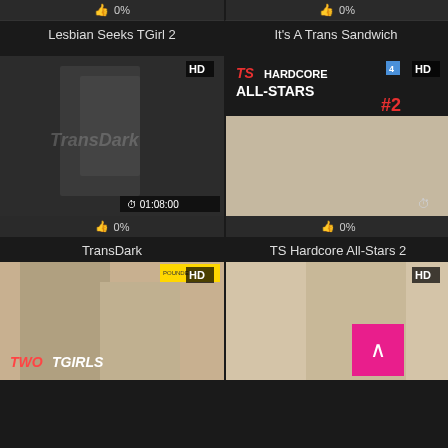0%
0%
Lesbian Seeks TGirl 2
It's A Trans Sandwich
[Figure (photo): TransDark movie cover with HD badge and duration 01:08:00]
[Figure (photo): TS Hardcore All-Stars 2 movie cover with HD badge]
0%
0%
TransDark
TS Hardcore All-Stars 2
[Figure (photo): Two TGirls Volume 20 cover with HD badge]
[Figure (photo): Blonde performer movie cover with HD badge and scroll-to-top button]